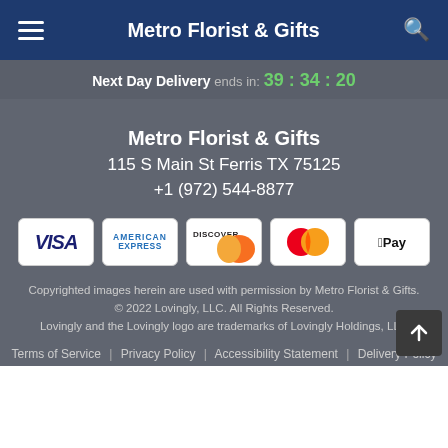Metro Florist & Gifts
Next Day Delivery ends in: 39 : 34 : 20
Metro Florist & Gifts
115 S Main St Ferris TX 75125
+1 (972) 544-8877
[Figure (other): Payment method icons: Visa, American Express, Discover, Mastercard, Apple Pay]
Copyrighted images herein are used with permission by Metro Florist & Gifts.
© 2022 Lovingly, LLC. All Rights Reserved.
Lovingly and the Lovingly logo are trademarks of Lovingly Holdings, LLC
Terms of Service | Privacy Policy | Accessibility Statement | Delivery Policy